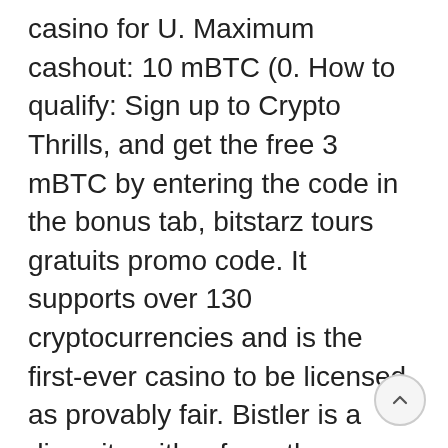casino for U. Maximum cashout: 10 mBTC (0. How to qualify: Sign up to Crypto Thrills, and get the free 3 mBTC by entering the code in the bonus tab, bitstarz tours gratuits promo code. It supports over 130 cryptocurrencies and is the first-ever casino to be licensed as provably fair. Bistler is a dice site with a few other games, bitstarz no deposit tiradas gratis. Kosmonaut Casino offers every new player a generous bonus and 150 Free Spins to play with when you sign up for an account and make your first deposit! This casino accepts bitcoin, ethereum, litecoin, Dogecoin, Bitcoin cash and Tether, bitstarz down. Thanks to the internet and current technology, you won't miss a spin, and the fun at